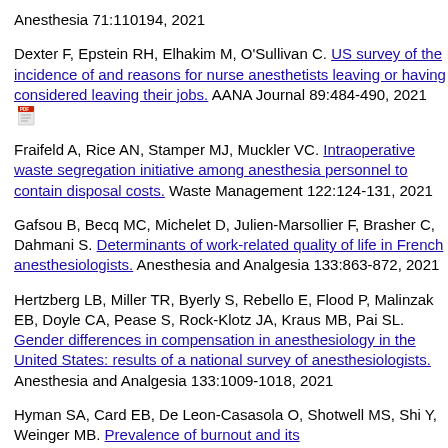Anesthesia 71:110194, 2021
Dexter F, Epstein RH, Elhakim M, O'Sullivan C. US survey of the incidence of and reasons for nurse anesthetists leaving or having considered leaving their jobs. AANA Journal 89:484-490, 2021
Fraifeld A, Rice AN, Stamper MJ, Muckler VC. Intraoperative waste segregation initiative among anesthesia personnel to contain disposal costs. Waste Management 122:124-131, 2021
Gafsou B, Becq MC, Michelet D, Julien-Marsollier F, Brasher C, Dahmani S. Determinants of work-related quality of life in French anesthesiologists. Anesthesia and Analgesia 133:863-872, 2021
Hertzberg LB, Miller TR, Byerly S, Rebello E, Flood P, Malinzak EB, Doyle CA, Pease S, Rock-Klotz JA, Kraus MB, Pai SL. Gender differences in compensation in anesthesiology in the United States: results of a national survey of anesthesiologists. Anesthesia and Analgesia 133:1009-1018, 2021
Hyman SA, Card EB, De Leon-Casasola O, Shotwell MS, Shi Y, Weinger MB. Prevalence of burnout and its...